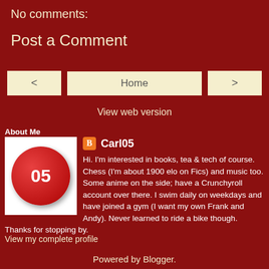No comments:
Post a Comment
< | Home | >
View web version
About Me
[Figure (illustration): Avatar showing a red circle with '05' text on white background]
Carl05
Hi. I'm interested in books, tea & tech of course. Chess (I'm about 1900 elo on Fics) and music too. Some anime on the side; have a Crunchyroll account over there. I swim daily on weekdays and have joined a gym (I want my own Frank and Andy). Never learned to ride a bike though. Thanks for stopping by.
View my complete profile
Powered by Blogger.